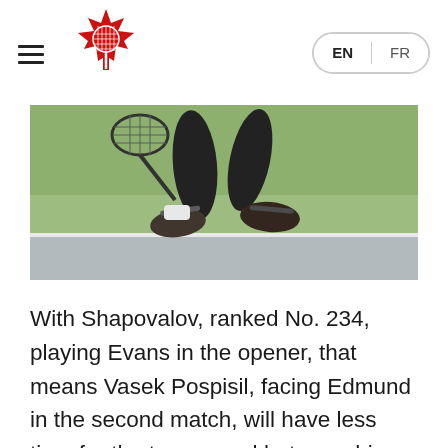Tennis Canada — EN | FR
[Figure (photo): Close-up action photo of a tennis player's legs and feet on a tennis court, showing the player mid-stride with a racket visible, green court surface in background.]
With Shapovalov, ranked No. 234, playing Evans in the opener, that means Vasek Pospisil, facing Edmund in the second match, will have less time for the turnaround between his singles Friday and the doubles with him and Nestor slated to play Dominic Inglot and Jamie Murray (above) at 1 p.m. on Saturday. "It gives Vasek a little less time to rest before his doubles," Laurendeau